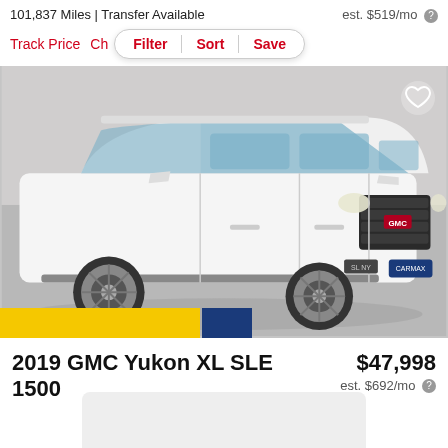101,837 Miles | Transfer Available
est. $519/mo
Track Price  Ch  Filter  Sort  Save
[Figure (photo): White 2019 GMC Yukon XL SLE 1500 full-size SUV photographed from the front-left angle in a showroom setting with a heart/favorite icon in the top right corner. Dealer strip at the bottom with yellow and blue branding.]
2019 GMC Yukon XL SLE 1500
$47,998
est. $692/mo